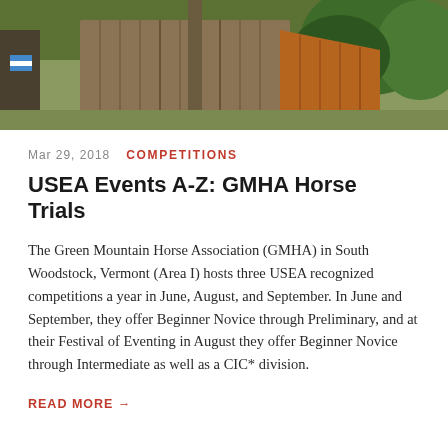[Figure (photo): Outdoor photo of a wooden barn structure with a rusty corrugated metal roof, surrounded by green vegetation. A horse or rider partially visible at the left edge.]
Mar 29, 2018   COMPETITIONS
USEA Events A-Z: GMHA Horse Trials
The Green Mountain Horse Association (GMHA) in South Woodstock, Vermont (Area I) hosts three USEA recognized competitions a year in June, August, and September. In June and September, they offer Beginner Novice through Preliminary, and at their Festival of Eventing in August they offer Beginner Novice through Intermediate as well as a CIC* division.
READ MORE →